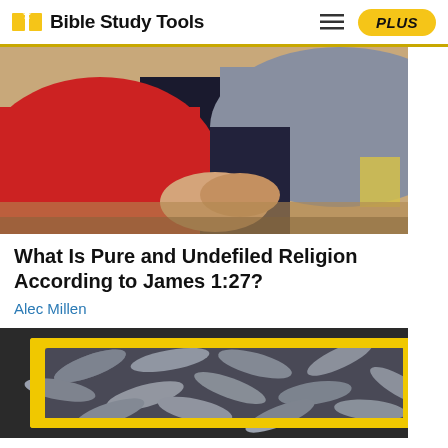Bible Study Tools
[Figure (photo): Two children shaking hands, one wearing a red hoodie, the other a grey hoodie, indoors with a yellow chair in background]
What Is Pure and Undefiled Religion According to James 1:27?
Alec Millen
[Figure (photo): A yellow plastic crate filled with fresh fish, viewed from above]